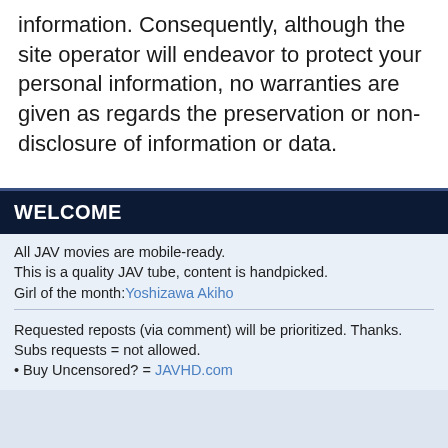information. Consequently, although the site operator will endeavor to protect your personal information, no warranties are given as regards the preservation or non-disclosure of information or data.
WELCOME
All JAV movies are mobile-ready.
This is a quality JAV tube, content is handpicked.
Girl of the month:Yoshizawa Akiho
Requested reposts (via comment) will be prioritized. Thanks.
Subs requests = not allowed.
• Buy Uncensored? = JAVHD.com